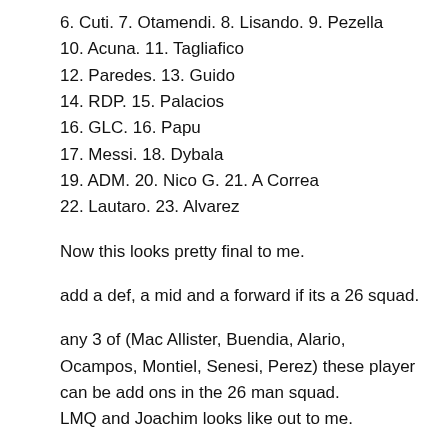6. Cuti. 7. Otamendi. 8. Lisando. 9. Pezella
10. Acuna. 11. Tagliafico
12. Paredes. 13. Guido
14. RDP. 15. Palacios
16. GLC. 16. Papu
17. Messi. 18. Dybala
19. ADM. 20. Nico G. 21. A Correa
22. Lautaro. 23. Alvarez
Now this looks pretty final to me.
add a def, a mid and a forward if its a 26 squad.
any 3 of (Mac Allister, Buendia, Alario, Ocampos, Montiel, Senesi, Perez) these player can be add ons in the 26 man squad. LMQ and Joachim looks like out to me.